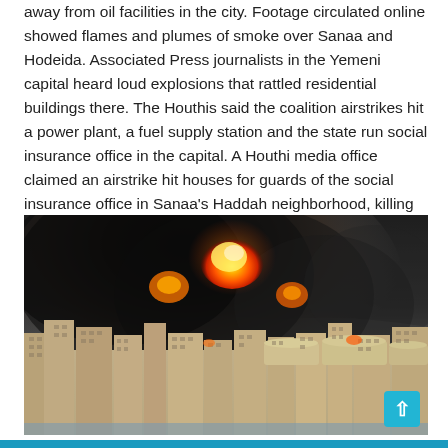away from oil facilities in the city. Footage circulated online showed flames and plumes of smoke over Sanaa and Hodeida. Associated Press journalists in the Yemeni capital heard loud explosions that rattled residential buildings there. The Houthis said the coalition airstrikes hit a power plant, a fuel supply station and the state run social insurance office in the capital. A Houthi media office claimed an airstrike hit houses for guards of the social insurance office in Sanaa's Haddah neighborhood, killing at least eight people and wounding four others, including women and children.
[Figure (photo): Photograph showing a large fire and dark smoke plumes rising over a city skyline, with storage tanks and residential buildings visible in the foreground and a hillside in the background.]